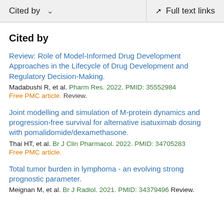Cited by   ∨   Full text links
Cited by
Review: Role of Model-Informed Drug Development Approaches in the Lifecycle of Drug Development and Regulatory Decision-Making.
Madabushi R, et al. Pharm Res. 2022. PMID: 35552984
Free PMC article. Review.
Joint modelling and simulation of M-protein dynamics and progression-free survival for alternative isatuximab dosing with pomalidomide/dexamethasone.
Thai HT, et al. Br J Clin Pharmacol. 2022. PMID: 34705283
Free PMC article.
Total tumor burden in lymphoma - an evolving strong prognostic parameter.
Meignan M, et al. Br J Radiol. 2021. PMID: 34379496 Review.